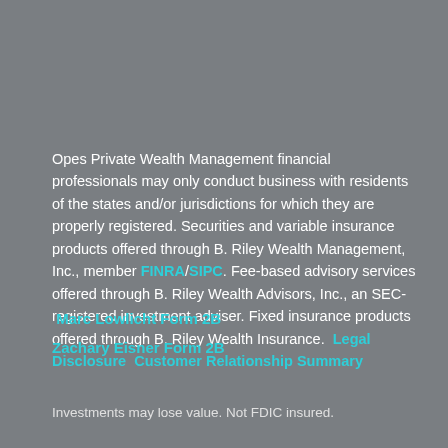Opes Private Wealth Management financial professionals may only conduct business with residents of the states and/or jurisdictions for which they are properly registered. Securities and variable insurance products offered through B. Riley Wealth Management, Inc., member FINRA/SIPC. Fee-based advisory services offered through B. Riley Wealth Advisors, Inc., an SEC-registered investment adviser. Fixed insurance products offered through B. Riley Wealth Insurance. Legal Disclosure Customer Relationship Summary
Marc Lowlicht Form 2B
Zachary Eisner Form 2B
Investments may lose value. Not FDIC insured.